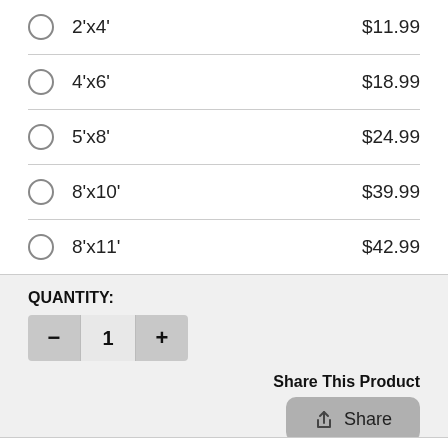2'x4'   $11.99
4'x6'   $18.99
5'x8'   $24.99
8'x10'  $39.99
8'x11'  $42.99
QUANTITY:
1
Share This Product
Share
ADD TO SHOPPING CART